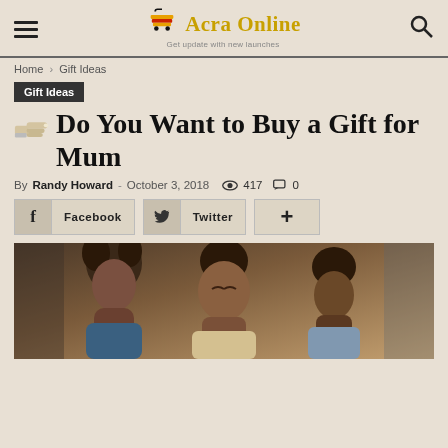Acra Online – Get update with new launches
Home › Gift Ideas
Gift Ideas
Do You Want to Buy a Gift for Mum
By Randy Howard - October 3, 2018  417  0
Facebook  Twitter  +
[Figure (photo): Photo of a mother and children looking down together]